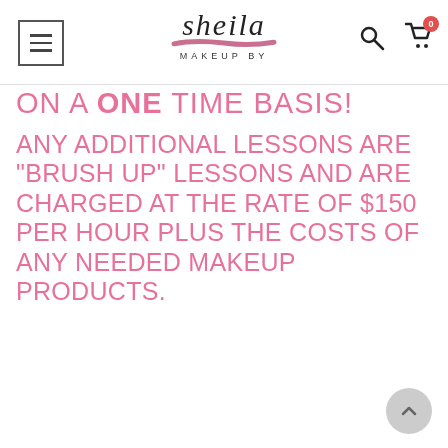[Figure (logo): Sheila Makeup By logo with brush stroke underline, menu hamburger icon, search icon, and cart icon with badge 0]
ON A ONE TIME BASIS!
ANY ADDITIONAL LESSONS ARE "BRUSH UP" LESSONS AND ARE CHARGED AT THE RATE OF $150 PER HOUR PLUS THE COSTS OF ANY NEEDED MAKEUP PRODUCTS.